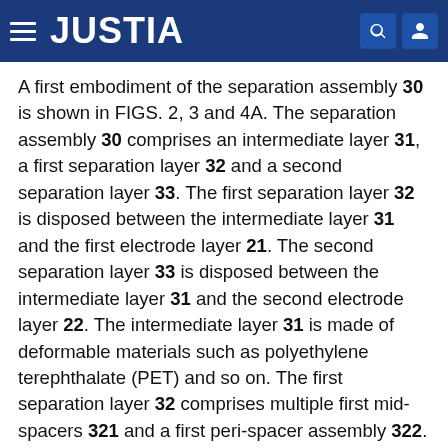JUSTIA
A first embodiment of the separation assembly 30 is shown in FIGS. 2, 3 and 4A. The separation assembly 30 comprises an intermediate layer 31, a first separation layer 32 and a second separation layer 33. The first separation layer 32 is disposed between the intermediate layer 31 and the first electrode layer 21. The second separation layer 33 is disposed between the intermediate layer 31 and the second electrode layer 22. The intermediate layer 31 is made of deformable materials such as polyethylene terephthalate (PET) and so on. The first separation layer 32 comprises multiple first mid-spacers 321 and a first peri-spacer assembly 322. The first mid-spacers 321 are arranged separately to form some of the deformation rooms 40. The first peri-spacer assembly 322 surrounds the first mid-spacers 321. The second separation layer 33 comprises